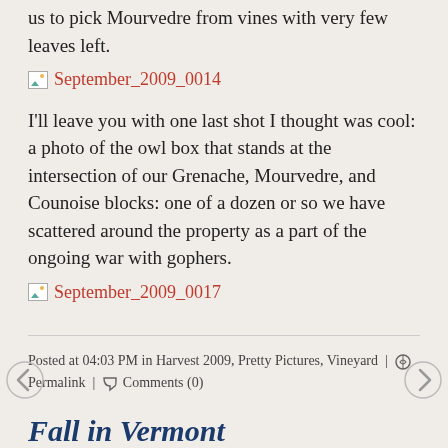us to pick Mourvedre from vines with very few leaves left.
[Figure (photo): Broken image placeholder link labeled September_2009_0014]
I'll leave you with one last shot I thought was cool: a photo of the owl box that stands at the intersection of our Grenache, Mourvedre, and Counoise blocks: one of a dozen or so we have scattered around the property as a part of the ongoing war with gophers.
[Figure (photo): Broken image placeholder link labeled September_2009_0017]
Posted at 04:03 PM in Harvest 2009, Pretty Pictures, Vineyard | 🔍 Permalink | 💬 Comments (0)
Fall in Vermont